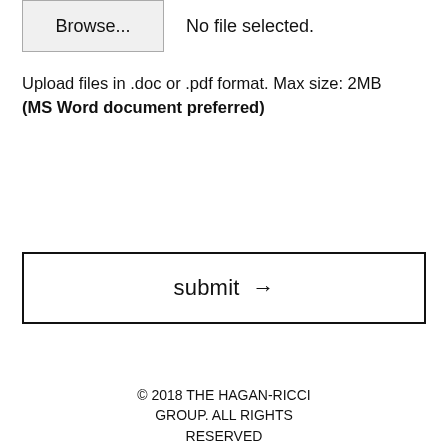[Figure (screenshot): File upload UI element with 'Browse...' button and 'No file selected.' text]
Upload files in .doc or .pdf format. Max size: 2MB
(MS Word document preferred)
[Figure (screenshot): Submit button with 'submit →' label inside a rectangular border]
© 2018 THE HAGAN-RICCI GROUP. ALL RIGHTS RESERVED